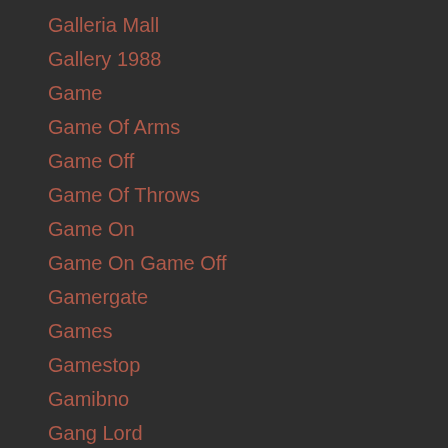Galleria Mall
Gallery 1988
Game
Game Of Arms
Game Off
Game Of Throws
Game On
Game On Game Off
Gamergate
Games
Gamestop
Gamibno
Gang Lord
Gareth Cliff
Garrison
Gary Cohn
Gary Weed
Gas Prices
Gate
Gateway